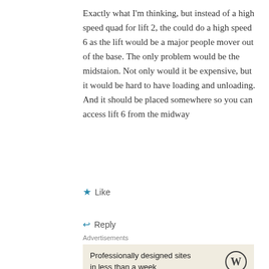Exactly what I'm thinking, but instead of a high speed quad for lift 2, the could do a high speed 6 as the lift would be a major people mover out of the base. The only problem would be the midstaion. Not only would it be expensive, but it would be hard to have loading and unloading. And it should be placed somewhere so you can access lift 6 from the midway
★ Like
↩ Reply
Advertisements
[Figure (other): Advertisement box with beige background showing text 'Professionally designed sites in less than a week' and WordPress logo on the right]